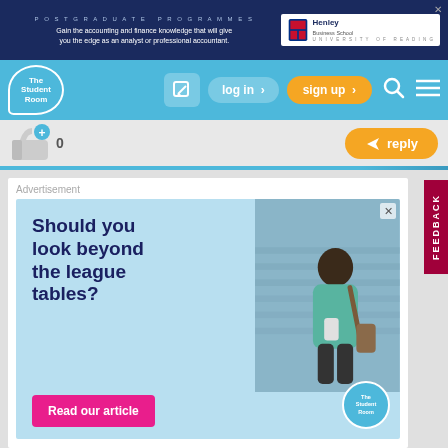[Figure (screenshot): Henley Business School postgraduate programmes advertisement banner, dark navy background]
[Figure (screenshot): The Student Room website navigation bar with logo, log in, sign up, search and menu icons on blue background]
[Figure (screenshot): Like button (thumb up) showing count 0, and orange reply button]
[Figure (screenshot): Advertisement card: Should you look beyond the league tables? Read our article. The Student Room branding with student photo.]